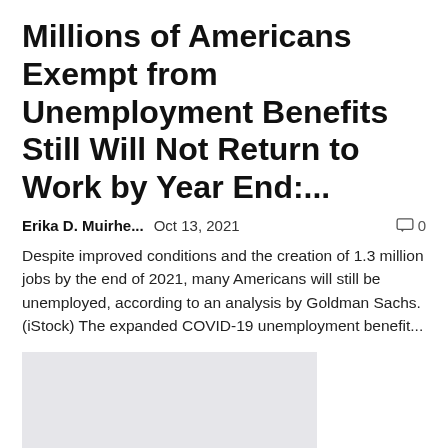Millions of Americans Exempt from Unemployment Benefits Still Will Not Return to Work by Year End:...
Erika D. Muirhe...   Oct 13, 2021   💬 0
Despite improved conditions and the creation of 1.3 million jobs by the end of 2021, many Americans will still be unemployed, according to an analysis by Goldman Sachs. (iStock) The expanded COVID-19 unemployment benefit...
[Figure (photo): Light gray rectangular image placeholder]